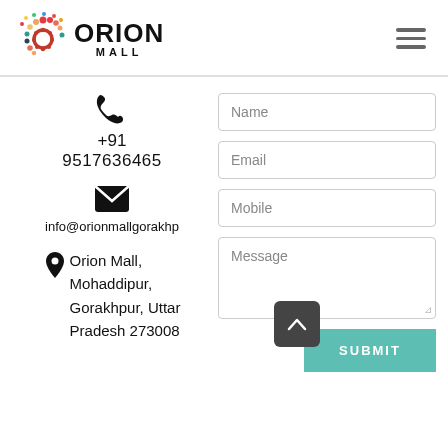[Figure (logo): Orion Mall logo with colorful dots and bold ORION MALL text]
+91 9517636465
info@orionmallgorakhp
Orion Mall, Mohaddipur, Gorakhpur, Uttar Pradesh 273008
Name
Email
Mobile
Message
SUBMIT